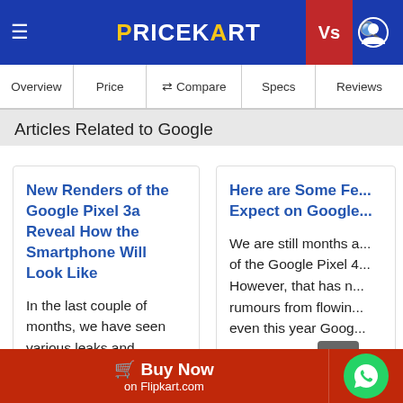PRICEKART
Overview | Price | Compare | Specs | Reviews
Articles Related to Google
New Renders of the Google Pixel 3a Reveal How the Smartphone Will Look Like
In the last couple of months, we have seen various leaks and rumours surrounding the upcoming Google Pixel mobile phones surface online. Google is going to launch Google Pixel 3a, a mid-range smartphone at the Google IO 2019 Developer Conference...
Here are Some Fe... Expect on Google...
We are still months a... of the Google Pixel 4... However, that has n... rumours from flowin... even this year Goog... flagship smart... November. Mo...
Buy Now on Flipkart.com